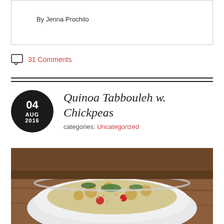By Jenna Prochilo
31 Comments
Quinoa Tabbouleh w. Chickpeas
categories: Uncategorized
[Figure (photo): A bowl of quinoa tabbouleh with chickpeas, tomatoes, and herbs on a wooden table]